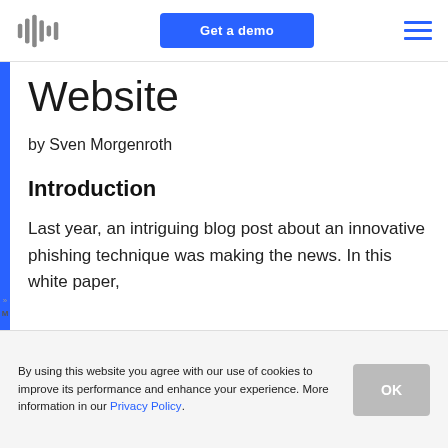Get a demo
Website
by Sven Morgenroth
Introduction
Last year, an intriguing blog post about an innovative phishing technique was making the news. In this white paper,
By using this website you agree with our use of cookies to improve its performance and enhance your experience. More information in our Privacy Policy.